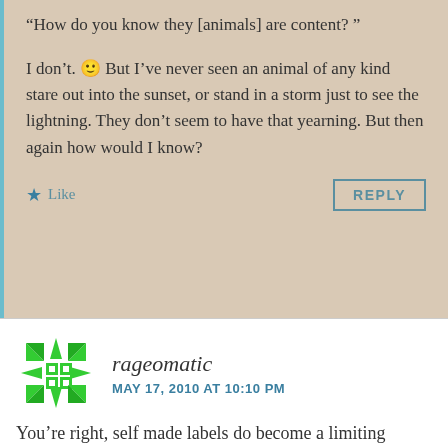“How do you know they [animals] are content? ”
I don't. 🙂 But I’ve never seen an animal of any kind stare out into the sunset, or stand in a storm just to see the lightning. They don’t seem to have that yearning. But then again how would I know?
Like | REPLY
rageomatic
MAY 17, 2010 AT 10:10 PM
You’re right, self made labels do become a limiting factor. I try not to limit myself like that. Atheist is